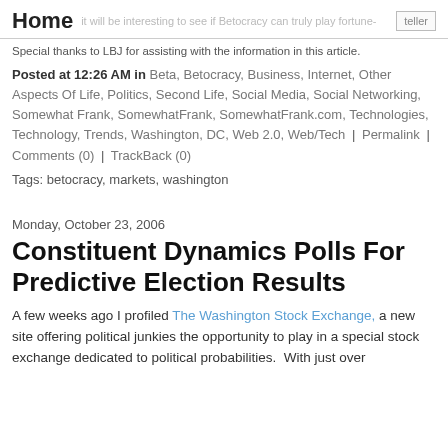Home
Special thanks to LBJ for assisting with the information in this article.
Posted at 12:26 AM in Beta, Betocracy, Business, Internet, Other Aspects Of Life, Politics, Second Life, Social Media, Social Networking, Somewhat Frank, SomewhatFrank, SomewhatFrank.com, Technologies, Technology, Trends, Washington, DC, Web 2.0, Web/Tech | Permalink | Comments (0) | TrackBack (0)
Tags: betocracy, markets, washington
Monday, October 23, 2006
Constituent Dynamics Polls For Predictive Election Results
A few weeks ago I profiled The Washington Stock Exchange, a new site offering political junkies the opportunity to play in a special stock exchange dedicated to political probabilities.  With just over